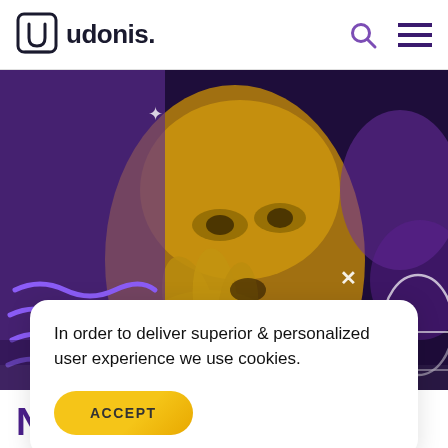udonis.
[Figure (photo): Hero image of a woman with yellow/golden color overlay and purple graphic elements including wavy lines and X marks on a dark purple background]
In order to deliver superior & personalized user experience we use cookies.
ACCEPT
Networks for Apps &